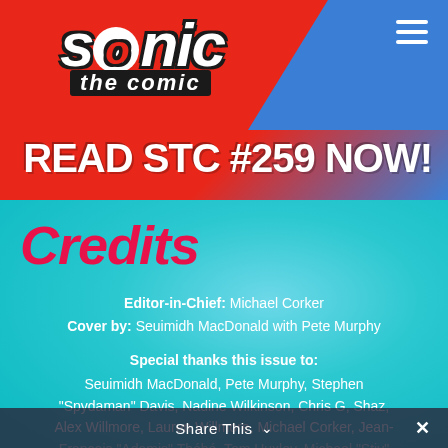[Figure (screenshot): Sonic the Comic website header with red and blue background, Sonic logo, and 'Read STC #259 now!' text with hamburger menu]
Credits
Editor-in-Chief: Michael Corker
Cover by: Seuimidh MacDonald with Pete Murphy
Special thanks this issue to:
Seuimidh MacDonald, Pete Murphy, Stephen "Spydaman" Davis, Nadine Wilkinson, Chris G, Shaz, Alex Willmore, Lauren Willmore, Michael Corker, Jean-François "Adamis" Thébé, Tom Huxley, Michael "Stiv" Stephenson, and the rest of the STC team!
Share This